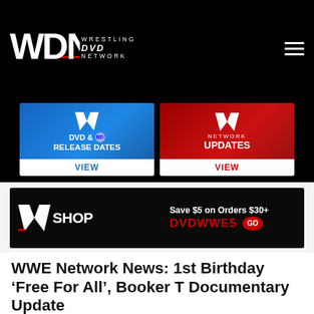WDN WRESTLING DVD NETWORK
[Figure (screenshot): WWE DVD & Blu-ray Release Dates banner button (blue) with VIEW link]
[Figure (screenshot): WWE Network Updates banner button (red) with VIEW link]
[Figure (screenshot): WWE Shop advertisement banner: Save $5 on Orders $30+ with promo code DVDWWE5]
WWE Network News: 1st Birthday ‘Free For All’, Booker T Documentary Update
February 23, 2015
Written by Mark D